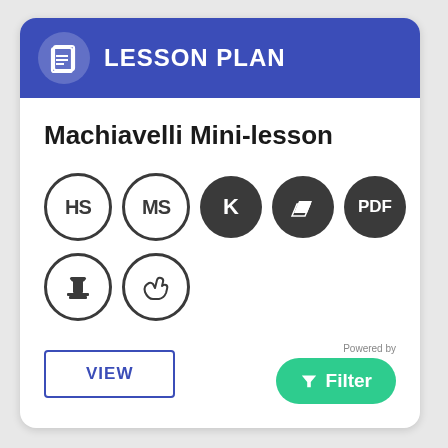LESSON PLAN
Machiavelli Mini-lesson
[Figure (infographic): Row of badge icons: HS (outline circle), MS (outline circle), K (filled circle), parallelogram/slides icon (filled circle), PDF (filled circle). Second row: column capital icon (outline circle), hand gesture icon (outline circle).]
VIEW
Powered by
Filter